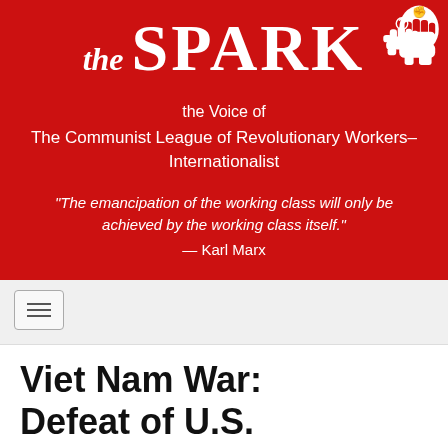[Figure (logo): The Spark publication logo with white handwritten-style text on red background, showing 'THE SPARK' in large letters with a raised fist icon on the right]
the Voice of
The Communist League of Revolutionary Workers–Internationalist
"The emancipation of the working class will only be achieved by the working class itself."
— Karl Marx
[Figure (other): Navigation hamburger menu button with three horizontal lines]
Viet Nam War: Defeat of U.S. Imperialism
May 25, 2015
U.S. top news: military officials and Viet Nam are calling of being…